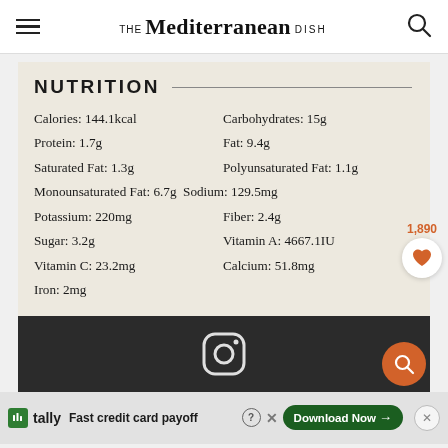THE Mediterranean DISH
NUTRITION
| Nutrient | Value |
| --- | --- |
| Calories | 144.1kcal |
| Carbohydrates | 15g |
| Protein | 1.7g |
| Fat | 9.4g |
| Saturated Fat | 1.3g |
| Polyunsaturated Fat | 1.1g |
| Monounsaturated Fat | 6.7g |
| Sodium | 129.5mg |
| Potassium | 220mg |
| Fiber | 2.4g |
| Sugar | 3.2g |
| Vitamin A | 4667.1IU |
| Vitamin C | 23.2mg |
| Calcium | 51.8mg |
| Iron | 2mg |
[Figure (other): Dark background section with Instagram icon]
1,890
tally Fast credit card payoff Download Now →